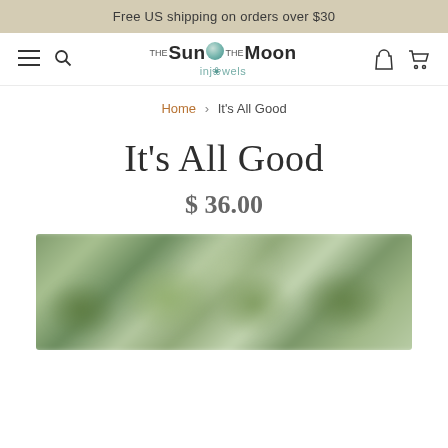Free US shipping on orders over $30
[Figure (logo): The Sun The Moon InJewels logo with teal gem circle and subtitle 'injewels']
Home > It's All Good
It's All Good
$ 36.00
[Figure (photo): Blurred close-up photo of green tumbled stones/crystals]